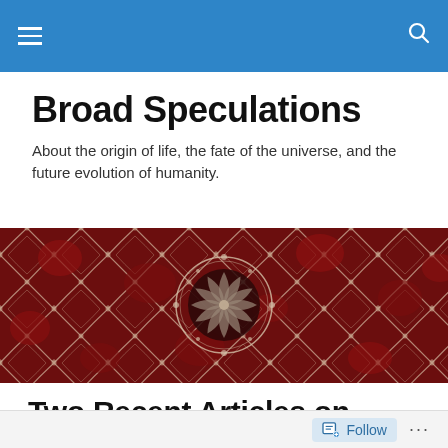Broad Speculations [navigation bar]
Broad Speculations
About the origin of life, the fate of the universe, and the future evolution of humanity.
[Figure (photo): Wide decorative banner image showing a red and cream ornate fractal-like circular pattern, resembling a top-down view of a mandala or Islamic geometric tile art with a swirling center.]
Two Recent Articles on Neurons
Follow ...